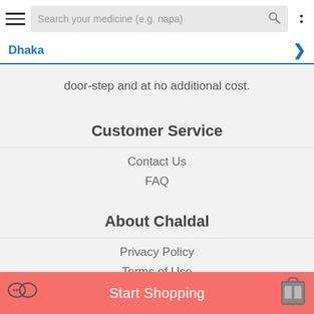[Figure (screenshot): Mobile app top navigation bar with hamburger menu, search box reading 'Search your medicine (e.g. napa)', search icon, and vertical dots menu]
Dhaka
door-step and at no additional cost.
Customer Service
Contact Us
FAQ
About Chaldal
Privacy Policy
Terms of Use
For Business
Start Shopping